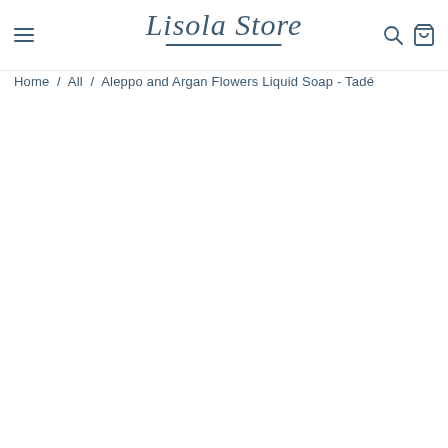Lisola Store — navigation header with hamburger menu, logo, search and cart icons
Home / All / Aleppo and Argan Flowers Liquid Soap - Tadé